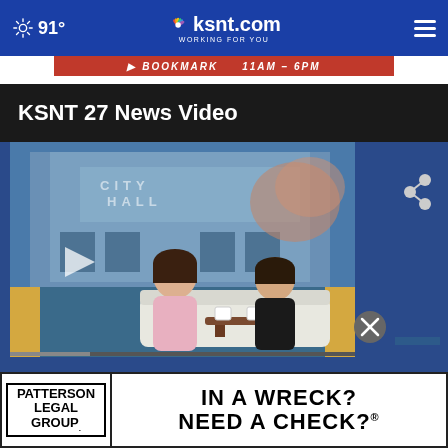91° | ksnt.com WORKING FOR YOU
[Figure (screenshot): Red promo banner with white bold italic text showing a TV show schedule]
KSNT 27 News Video
[Figure (screenshot): Video player showing two women seated on a white sofa in a TV studio set with a City Hall backdrop. A play button triangle is visible on the left. A share icon is in the top right corner. A close button (X) is in the lower right.]
[Figure (photo): Patterson Legal Group advertisement: logo on left reading PATTERSON LEGAL GROUP, slogan on right IN A WRECK? NEED A CHECK? with registered trademark symbol]